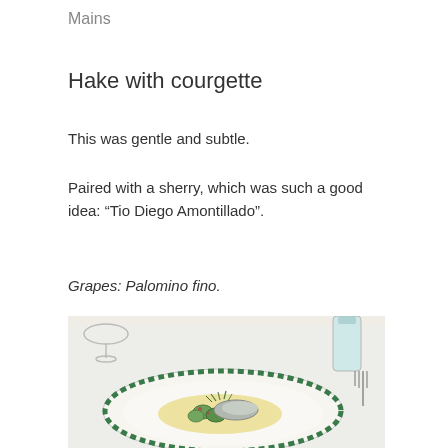Mains
Hake with courgette
This was gentle and subtle.
Paired with a sherry, which was such a good idea: “Tio Diego Amontillado”.
Grapes: Palomino fino.
[Figure (photo): A plate of hake with courgette on a white plate with green decorative rim, with a sauce, microgreens garnish, served on a white tablecloth alongside a water bottle and wine glass]